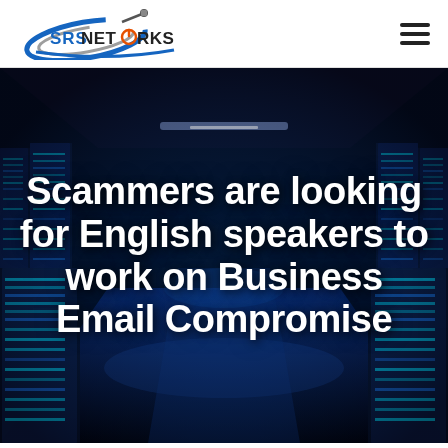[Figure (logo): SRS Networks logo — stylized C-arc with a network cable/connector, blue and gray arcs, orange power button in the O of NETWORKS]
[Figure (photo): Data center corridor with rows of server racks lit in blue neon light, perspective vanishing point in center]
Scammers are looking for English speakers to work on Business Email Compromise